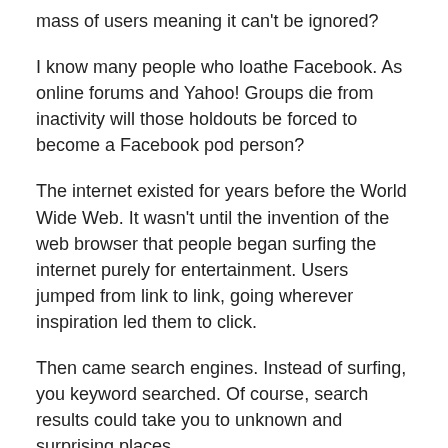mass of users meaning it can't be ignored?
I know many people who loathe Facebook. As online forums and Yahoo! Groups die from inactivity will those holdouts be forced to become a Facebook pod person?
The internet existed for years before the World Wide Web. It wasn't until the invention of the web browser that people began surfing the internet purely for entertainment. Users jumped from link to link, going wherever inspiration led them to click.
Then came search engines. Instead of surfing, you keyword searched. Of course, search results could take you to unknown and surprising places.